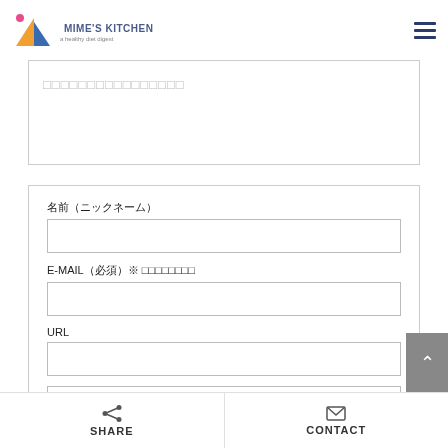Mime's Kitchen
□□□□□□□□□□□□□□□□
名前（ニックネーム）
E-MAIL（必須）※ □□□□□□□□
URL
SHARE  CONTACT